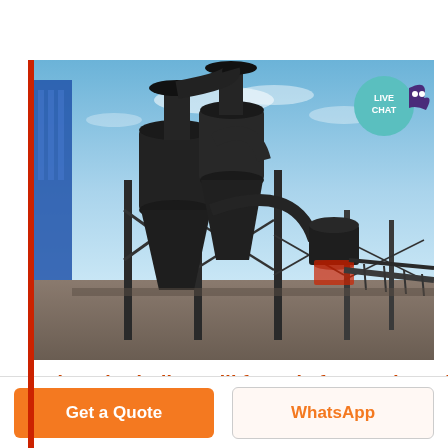[Figure (photo): Industrial mineral grinding mill installation with large cyclone separators, pipework, and conveyor structures against a blue sky. A 'LIVE CHAT' badge is overlaid in the top-right corner of the image.]
mineral grinding mill for sale from Indonesia
Get a Quote
WhatsApp